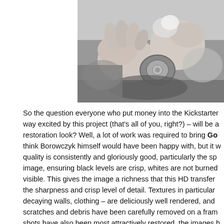[Figure (photo): Black and white close-up photograph of hands holding what appears to be a mechanical or film-related device, possibly a camera or projector component.]
So the question everyone who put money into the Kickstarter way excited by this project (that's all of you, right?) – will be a restoration look? Well, a lot of work was required to bring Go think Borowczyk himself would have been happy with, but it w quality is consistently and gloriously good, particularly the sp image, ensuring black levels are crisp, whites are not burned visible. This gives the image a richness that this HD transfer the sharpness and crisp level of detail. Textures in particular decaying walls, clothing – are deliciously well rendered, and scratches and debris have been carefully removed on a fram shots have also been most attractively restored, the images h strikingly with the grey world that they intermittently puncture but is organic to the film. Given the challenge that faced the r
The Linear PCM mono soundtrack has also been restored ar leaning towards crisper trebles that is common for a film of th clean of background hiss and hum and other sundry damage